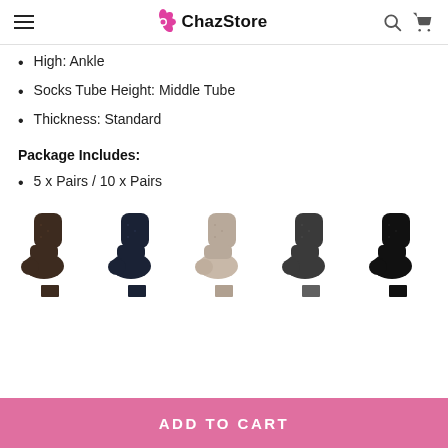ChazStore
High: Ankle
Socks Tube Height: Middle Tube
Thickness: Standard
Package Includes:
5 x Pairs / 10 x Pairs
[Figure (photo): Five socks shown in different colors: dark brown, dark navy, beige/taupe, dark gray, and black. Below each sock is a small color swatch rectangle matching the sock color.]
ADD TO CART